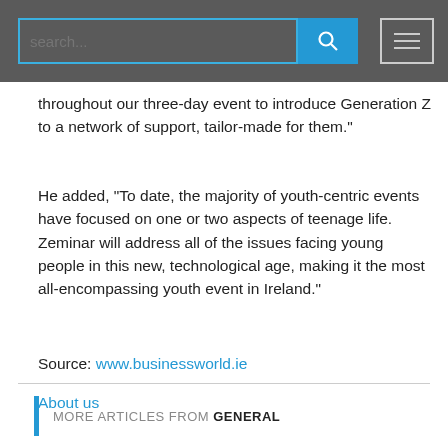search...
throughout our three-day event to introduce Generation Z to a network of support, tailor-made for them."
He added, "To date, the majority of youth-centric events have focused on one or two aspects of teenage life. Zeminar will address all of the issues facing young people in this new, technological age, making it the most all-encompassing youth event in Ireland."
Source: www.businessworld.ie
About us
MORE ARTICLES FROM GENERAL